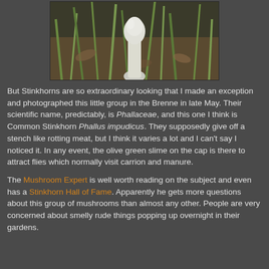[Figure (photo): Close-up photo of a white stinkhorn mushroom emerging from the ground surrounded by green grass blades and leaf litter, with a dark background. The mushroom appears pale white/ivory.]
But Stinkhorns are so extraordinary looking that I made an exception and photographed this little group in the Brenne in late May. Their scientific name, predictably, is Phallaceae, and this one I think is Common Stinkhorn Phallus impudicus. They supposedly give off a stench like rotting meat, but I think it varies a lot and I can't say I noticed it. In any event, the olive green slime on the cap is there to attract flies which normally visit carrion and manure.
The Mushroom Expert is well worth reading on the subject and even has a Stinkhorn Hall of Fame. Apparently he gets more questions about this group of mushrooms than almost any other. People are very concerned about smelly rude things popping up overnight in their gardens.